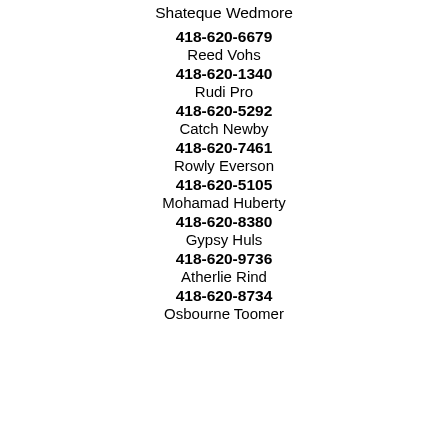Shateque Wedmore
418-620-6679
Reed Vohs
418-620-1340
Rudi Pro
418-620-5292
Catch Newby
418-620-7461
Rowly Everson
418-620-5105
Mohamad Huberty
418-620-8380
Gypsy Huls
418-620-9736
Atherlie Rind
418-620-8734
Osbourne Toomer